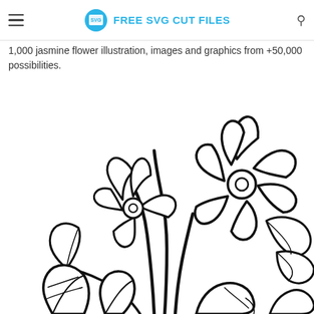FREE SVG CUT FILES
1,000 jasmine flower illustration, images and graphics from +50,000 possibilities.
[Figure (illustration): Black and white line drawing illustration of jasmine flowers with petals, leaves, and stems. Shows two main flowers with circular centers and multiple petals, with foliage and additional flower buds at the bottom.]